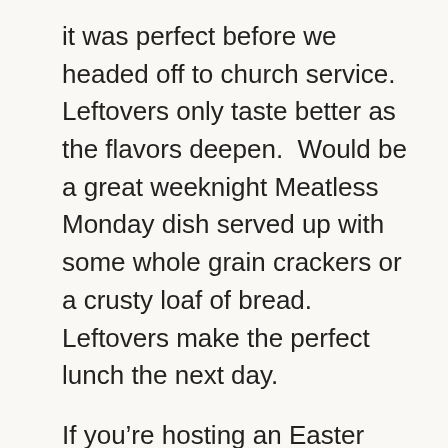it was perfect before we headed off to church service.  Leftovers only taste better as the flavors deepen.  Would be a great weeknight Meatless Monday dish served up with some whole grain crackers or a crusty loaf of bread.  Leftovers make the perfect lunch the next day.
If you're hosting an Easter brunch… think about this one on your menu.  Make ahead.  Would keep perfectly on the warm setting of your slow cooker.  Although my daughter insisted I use the Malbec wine for this photo, I would pair up with a white wine of your choice.  So good!
Ingredients: